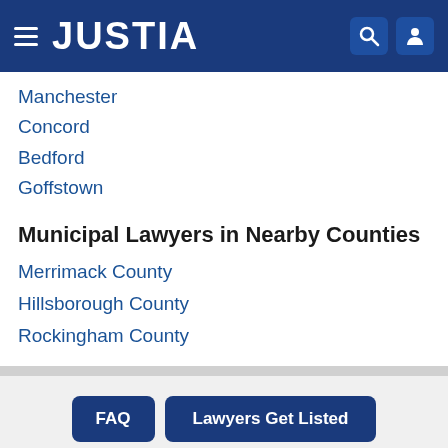JUSTIA
Manchester
Concord
Bedford
Goffstown
Municipal Lawyers in Nearby Counties
Merrimack County
Hillsborough County
Rockingham County
FAQ  Lawyers Get Listed
Recent (0)  Saved (0)  Compare (0/3)